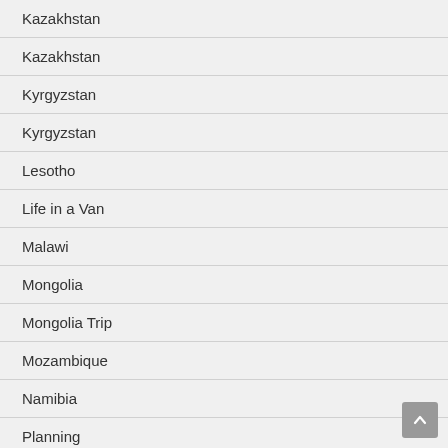Kazakhstan
Kazakhstan
Kyrgyzstan
Kyrgyzstan
Lesotho
Life in a Van
Malawi
Mongolia
Mongolia Trip
Mozambique
Namibia
Planning